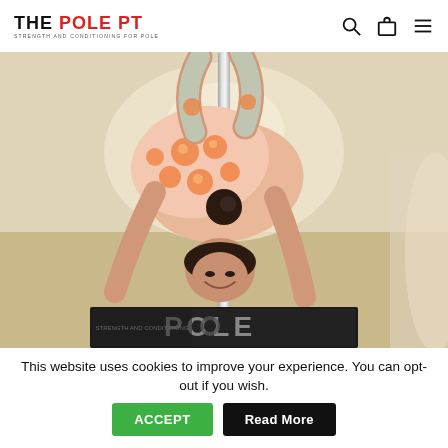THE POLE PT — Strength and Conditioning for Pole
[Figure (photo): A woman performing a pole dance move, bent over forward holding a pole while smiling, wearing a peach/orange patterned leotard. She is reading or holding a magazine that says POLE at the bottom of the frame.]
This website uses cookies to improve your experience. You can opt-out if you wish.
ACCEPT
Read More